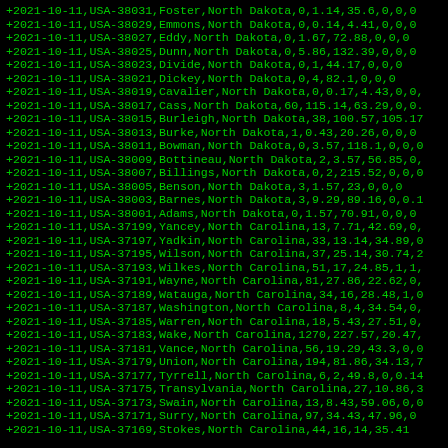+2021-10-11,USA-38031,Foster,North Dakota,0,1.14,35.6,0,0,0
+2021-10-11,USA-38029,Emmons,North Dakota,0,0.14,4.41,0,0,0
+2021-10-11,USA-38027,Eddy,North Dakota,0,1.67,72.88,0,0,0
+2021-10-11,USA-38025,Dunn,North Dakota,0,5.86,132.39,0,0,0
+2021-10-11,USA-38023,Divide,North Dakota,0,1,44.17,0,0,0
+2021-10-11,USA-38021,Dickey,North Dakota,0,4,82.1,0,0,0
+2021-10-11,USA-38019,Cavalier,North Dakota,0,0.17,4.43,0,0,
+2021-10-11,USA-38017,Cass,North Dakota,60,115.14,63.29,0,0.
+2021-10-11,USA-38015,Burleigh,North Dakota,38,100.57,105.17
+2021-10-11,USA-38013,Burke,North Dakota,1,0.43,20.26,0,0,0
+2021-10-11,USA-38011,Bowman,North Dakota,0,3.57,118.1,0,0,0
+2021-10-11,USA-38009,Bottineau,North Dakota,2,3.57,56.85,0,
+2021-10-11,USA-38007,Billings,North Dakota,0,2,215.52,0,0,0
+2021-10-11,USA-38005,Benson,North Dakota,3,1.57,23,0,0,0
+2021-10-11,USA-38003,Barnes,North Dakota,3,9.29,89.16,0,0.1
+2021-10-11,USA-38001,Adams,North Dakota,0,1.57,70.91,0,0,0
+2021-10-11,USA-37199,Yancey,North Carolina,13,7.71,42.69,0,
+2021-10-11,USA-37197,Yadkin,North Carolina,33,13.14,34.89,0
+2021-10-11,USA-37195,Wilson,North Carolina,37,25.14,30.74,2
+2021-10-11,USA-37193,Wilkes,North Carolina,51,17,24.85,1,1,
+2021-10-11,USA-37191,Wayne,North Carolina,81,27.86,22.62,0,
+2021-10-11,USA-37189,Watauga,North Carolina,34,16,28.48,1,0
+2021-10-11,USA-37187,Washington,North Carolina,8,4,34.54,0,
+2021-10-11,USA-37185,Warren,North Carolina,18,5.43,27.51,0,
+2021-10-11,USA-37183,Wake,North Carolina,1270,227.57,20.47,
+2021-10-11,USA-37181,Vance,North Carolina,56,19.29,43.3,0,0
+2021-10-11,USA-37179,Union,North Carolina,194,81.86,34.13,7
+2021-10-11,USA-37177,Tyrrell,North Carolina,6,2,49.8,0,0.14
+2021-10-11,USA-37175,Transylvania,North Carolina,27,10.86,3
+2021-10-11,USA-37173,Swain,North Carolina,13,8.43,59.06,0,0
+2021-10-11,USA-37171,Surry,North Carolina,97,34.43,47.96,0
+2021-10-11,USA-37169,Stokes,North Carolina,44,16,14,35.41